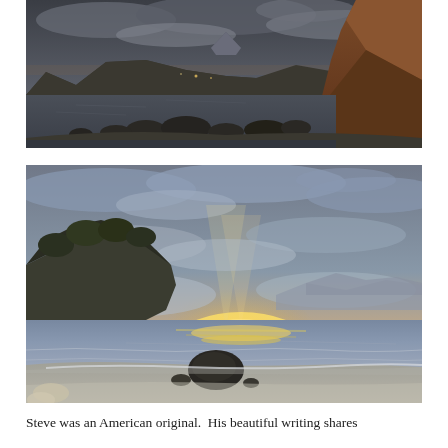[Figure (photo): Coastal landscape photograph taken at dusk showing a rocky shoreline with dark boulders in the foreground, calm dark water, mountains in the background with a distinctive mountain peak (possibly Mount Fuji) visible in the center distance, and an orange-brown rocky cliff on the right side. The sky is overcast with dark grey clouds.]
[Figure (photo): Sunset beach scene with a calm bay. The foreground shows a sandy/pebbly beach with a large dark boulder near the water's edge. A small tree-covered island is on the left. The horizon glows with yellow-orange sunset light beneath dramatic cloudy skies with shafts of light. Mountains are visible in the far background across the water.]
Steve was an American original.  His beautiful writing shares